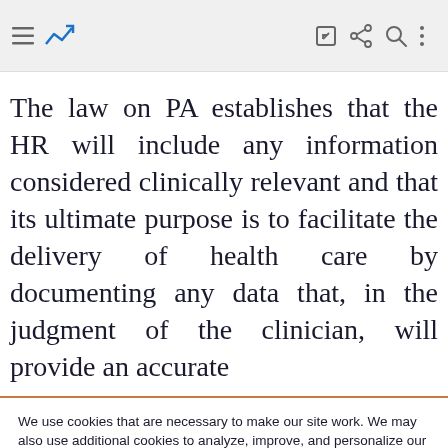[Figure (screenshot): Website toolbar with hamburger menu icon, analytics icon (blue), edit icon, share icon, search icon, and more options icon on a light gray background.]
The law on PA establishes that the HR will include any information considered clinically relevant and that its ultimate purpose is to facilitate the delivery of health care by documenting any data that, in the judgment of the clinician, will provide an accurate
We use cookies that are necessary to make our site work. We may also use additional cookies to analyze, improve, and personalize our content and your digital experience. For more information, see our Cookie Policy
Cookie settings
Accept all cookies